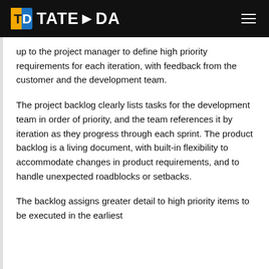TATEEDA
up to the project manager to define high priority requirements for each iteration, with feedback from the customer and the development team.
The project backlog clearly lists tasks for the development team in order of priority, and the team references it by iteration as they progress through each sprint. The product backlog is a living document, with built-in flexibility to accommodate changes in product requirements, and to handle unexpected roadblocks or setbacks.
The backlog assigns greater detail to high priority items to be executed in the earliest